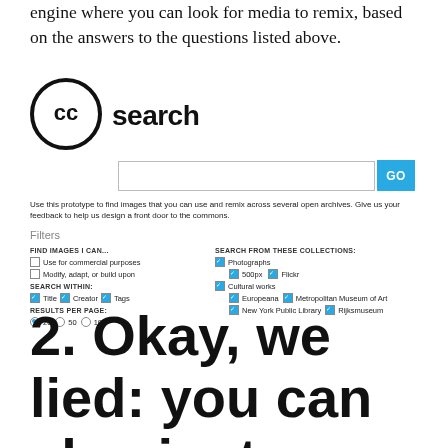engine where you can look for media to remix, based on the answers to the questions listed above.
[Figure (screenshot): CC Search interface screenshot showing the Creative Commons search logo, a search bar with a blue GO button, descriptive caption text, and Filters section with checkboxes for image usage rights and collections including Photographs (500px, Flickr), Cultural works (Europeana, Metropolitan Museum of Art, New York Public Library, Rijksmuseum), search-within options (Title, Creator, Tags), and results per page (20 selected, 50, 100).]
2. Okay, we lied: you can also just Google it, but Google well